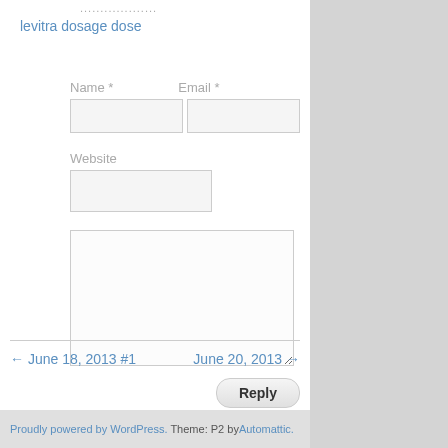levitra dosage dose
Name * Email *
Website
Reply
← June 18, 2013 #1   June 20, 2013 →
Proudly powered by WordPress. Theme: P2 by Automattic.